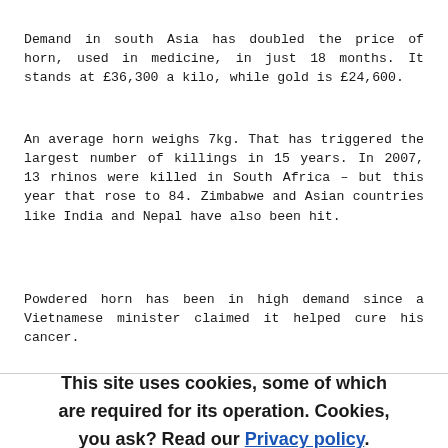Demand in south Asia has doubled the price of horn, used in medicine, in just 18 months. It stands at £36,300 a kilo, while gold is £24,600.
An average horn weighs 7kg. That has triggered the largest number of killings in 15 years. In 2007, 13 rhinos were killed in South Africa – but this year that rose to 84. Zimbabwe and Asian countries like India and Nepal have also been hit.
Powdered horn has been in high demand since a Vietnamese minister claimed it helped cure his cancer.
This site uses cookies, some of which are required for its operation. Cookies, you ask? Read our Privacy policy.
or Agree and Continue